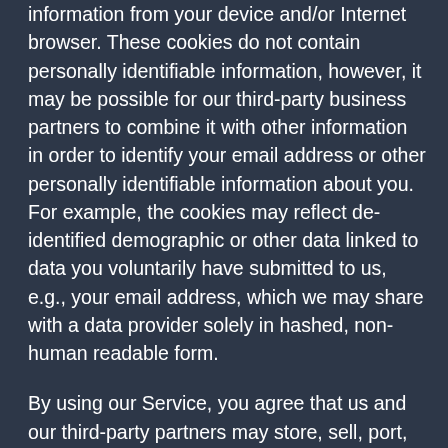information from your device and/or Internet browser. These cookies do not contain personally identifiable information, however, it may be possible for our third-party business partners to combine it with other information in order to identify your email address or other personally identifiable information about you. For example, the cookies may reflect de-identified demographic or other data linked to data you voluntarily have submitted to us, e.g., your email address, which we may share with a data provider solely in hashed, non-human readable form.
By using our Service, you agree that us and our third-party partners may store, sell, port, combine with other data, monetize, utilize and otherwise